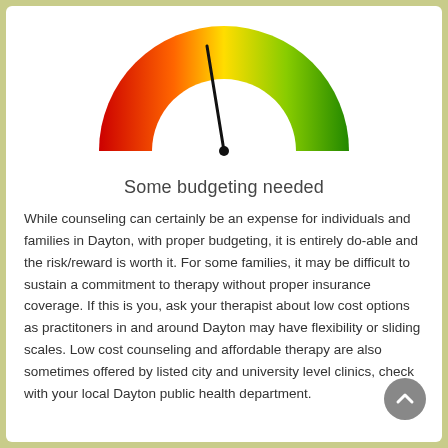[Figure (other): A speedometer/gauge graphic showing a semicircular dial with a color gradient from red on the left through orange and yellow to green on the right. The needle points slightly left of center (toward yellow-orange area), indicating 'Some budgeting needed'.]
Some budgeting needed
While counseling can certainly be an expense for individuals and families in Dayton, with proper budgeting, it is entirely do-able and the risk/reward is worth it. For some families, it may be difficult to sustain a commitment to therapy without proper insurance coverage. If this is you, ask your therapist about low cost options as practitoners in and around Dayton may have flexibility or sliding scales. Low cost counseling and affordable therapy are also sometimes offered by listed city and university level clinics, check with your local Dayton public health department.